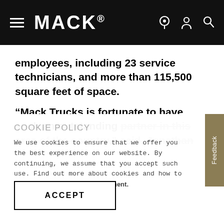MACK.
employees, including 23 service technicians, and more than 115,500 square feet of space.
“Mack Trucks is fortunate to have such an outstanding partner in this area of the country,” said, Jonathan
COOKIE POLICY
We use cookies to ensure that we offer you the best experience on our website. By continuing, we assume that you accept such use. Find out more about cookies and how to refuse see our Cookie statement.
ACCEPT